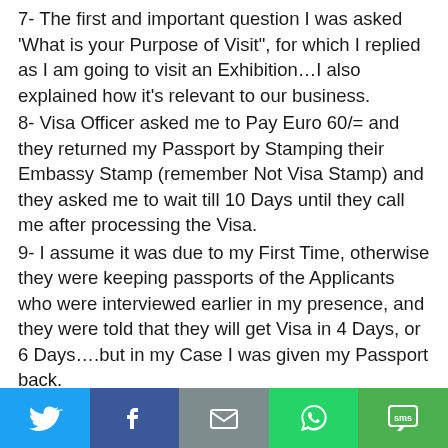7- The first and important question I was asked 'What is your Purpose of Visit", for which I replied as I am going to visit an Exhibition…I also explained how it's relevant to our business.
8- Visa Officer asked me to Pay Euro 60/= and they returned my Passport by Stamping their Embassy Stamp (remember Not Visa Stamp) and they asked me to wait till 10 Days until they call me after processing the Visa.
9- I assume it was due to my First Time, otherwise they were keeping passports of the Applicants who were interviewed earlier in my presence, and they were told that they will get Visa in 4 Days, or 6 Days….but in my Case I was given my Passport back.
10- Before interview, I thought it would be easy to get Visa because I was having everything necessary to apply but after interview when I got my Passport back It gave me
Twitter | Facebook | Email | WhatsApp | SMS